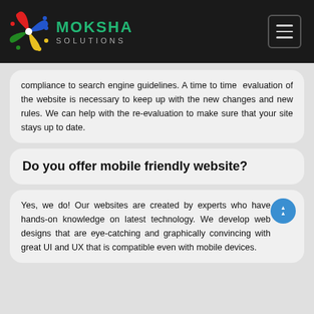Moksha Solutions
compliance to search engine guidelines. A time to time evaluation of the website is necessary to keep up with the new changes and new rules. We can help with the re-evaluation to make sure that your site stays up to date.
Do you offer mobile friendly website?
Yes, we do! Our websites are created by experts who have hands-on knowledge on latest technology. We develop web designs that are eye-catching and graphically convincing with great UI and UX that is compatible even with mobile devices.